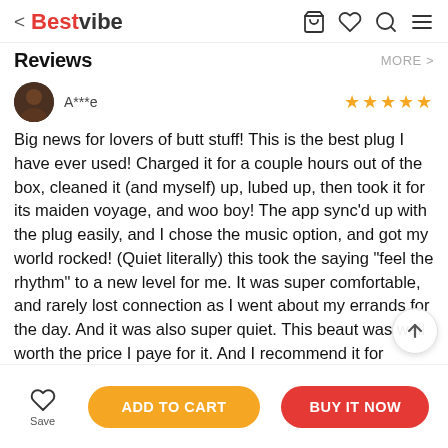< Bestvibe [cart icon] [heart icon] [search icon] [menu icon]
Reviews
MORE >
A***e ★★★★★
Big news for lovers of butt stuff! This is the best plug I have ever used! Charged it for a couple hours out of the box, cleaned it (and myself) up, lubed up, then took it for its maiden voyage, and woo boy! The app sync'd up with the plug easily, and I chose the music option, and got my world rocked! (Quiet literally) this took the saying "feel the rhythm" to a new level for me. It was super comfortable, and rarely lost connection as I went about my errands for the day. And it was also super quiet. This beaut was well worth the price I paye for it. And I recommend it for anyone who wants to
ADD TO CART
BUY IT NOW